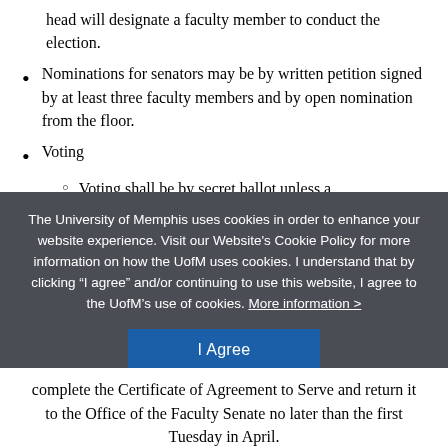head will designate a faculty member to conduct the election.
Nominations for senators may be by written petition signed by at least three faculty members and by open nomination from the floor.
Voting
Voting shall be by secret ballot unless a
The University of Memphis uses cookies in order to enhance your website experience. Visit our Website's Cookie Policy for more information on how the UofM uses cookies. I understand that by clicking “I agree” and/or continuing to use this website, I agree to the UofM’s use of cookies. More information >
complete the Certificate of Agreement to Serve and return it to the Office of the Faculty Senate no later than the first Tuesday in April.